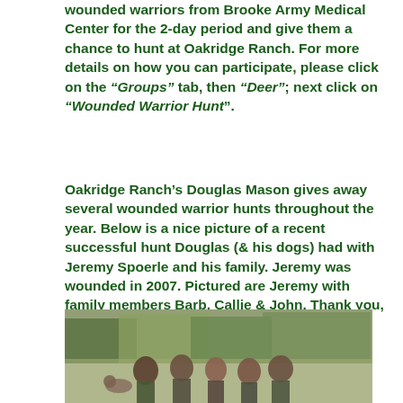wounded warriors from Brooke Army Medical Center for the 2-day period and give them a chance to hunt at Oakridge Ranch. For more details on how you can participate, please click on the “Groups” tab, then “Deer”; next click on “Wounded Warrior Hunt”.
Oakridge Ranch’s Douglas Mason gives away several wounded warrior hunts throughout the year. Below is a nice picture of a recent successful hunt Douglas (& his dogs) had with Jeremy Spoerle and his family. Jeremy was wounded in 2007. Pictured are Jeremy with family members Barb, Callie & John. Thank you, Douglas, for what you do for our wounded warriors all year long!
[Figure (photo): Outdoor group photo of Jeremy Spoerle and family members Barb, Callie & John with Douglas at a hunting location, trees visible in background.]